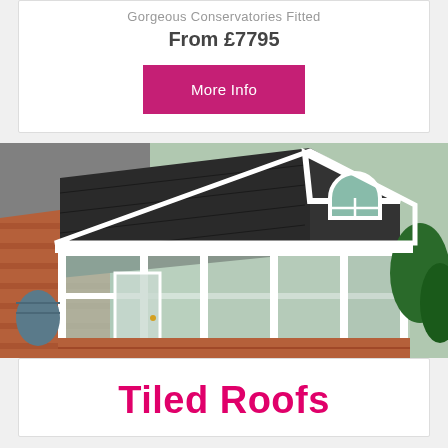Gorgeous Conservatories Fitted
From £7795
More Info
[Figure (photo): Aerial/angled view of a white uPVC conservatory with a dark grey tiled roof attached to a brick house, showing glass panels, doors, and garden surroundings]
Tiled Roofs